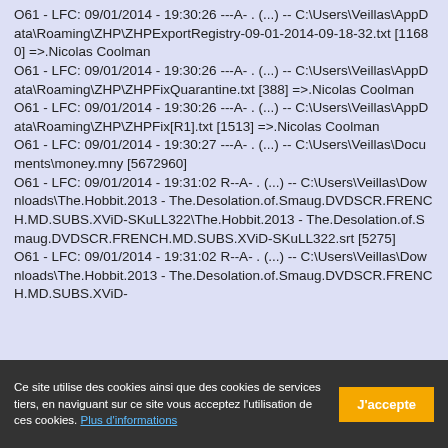O61 - LFC: 09/01/2014 - 19:30:26 ---A- . (...) -- C:\Users\Veillas\AppData\Roaming\ZHP\ZHPExportRegistry-09-01-2014-09-18-32.txt [11680] =>.Nicolas Coolman
O61 - LFC: 09/01/2014 - 19:30:26 ---A- . (...) -- C:\Users\Veillas\AppData\Roaming\ZHP\ZHPFixQuarantine.txt [388] =>.Nicolas Coolman
O61 - LFC: 09/01/2014 - 19:30:26 ---A- . (...) -- C:\Users\Veillas\AppData\Roaming\ZHP\ZHPFix[R1].txt [1513] =>.Nicolas Coolman
O61 - LFC: 09/01/2014 - 19:30:27 ---A- . (...) -- C:\Users\Veillas\Documents\money.mny [5672960]
O61 - LFC: 09/01/2014 - 19:31:02 R--A- . (...) -- C:\Users\Veillas\Downloads\The.Hobbit.2013 - The.Desolation.of.Smaug.DVDSCR.FRENCH.MD.SUBS.XViD-SKuLL322\The.Hobbit.2013 - The.Desolation.of.Smaug.DVDSCR.FRENCH.MD.SUBS.XViD-SKuLL322.srt [5275]
O61 - LFC: 09/01/2014 - 19:31:02 R--A- . (...) -- C:\Users\Veillas\Downloads\The.Hobbit.2013 - The.Desolation.of.Smaug.DVDSCR.FRENCH.MD.SUBS.XViD-
Ce site utilise des cookies ainsi que des cookies de services tiers, en naviguant sur ce site vous acceptez l'utilisation de ces cookies. Plus d'informations